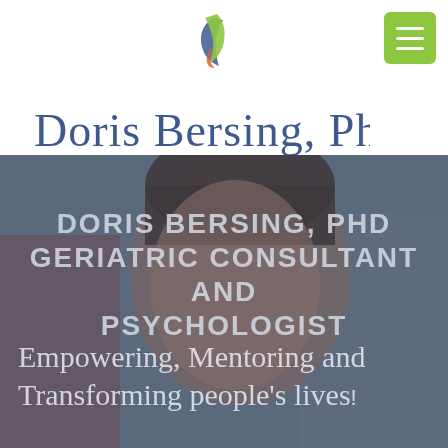[Figure (logo): Doris Bersing PhD logo with leaf graphic, cursive name text in blue, and tagline EMPOWERING MENTORING TRANSFORMING in green]
[Figure (photo): Hero photo of Dr. Doris Bersing, a woman with short dark hair, looking upward, with a warm expression. Background is blurred outdoor/building scene with overlay text.]
DORIS BERSING, PHD GERIATRIC CONSULTANT AND PSYCHOLOGIST
Empowering, Mentoring and Transforming people's lives!